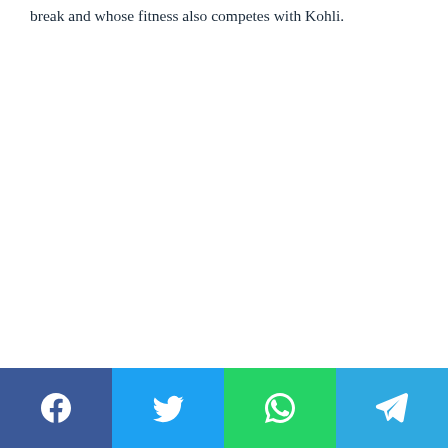break and whose fitness also competes with Kohli.
[Figure (infographic): Social media share bar at the bottom with four buttons: Facebook (blue), Twitter (light blue), WhatsApp (green), Telegram (dark blue)]